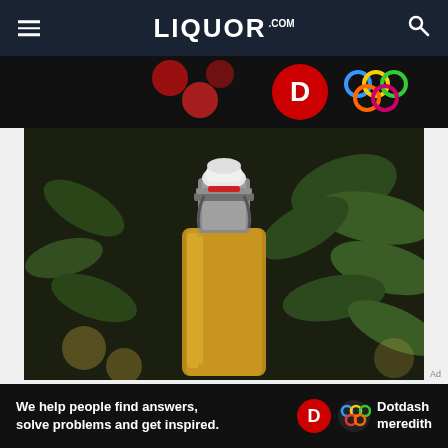LIQUOR.COM
[Figure (photo): Advertisement banner with dark background showing red dots and colorful Olympic rings style circles logo on black background]
[Figure (photo): Close-up photo of a glass swing-top bottle with a white ceramic stopper and metal clamp, containing a golden/amber liquid, set against a dark background with green leaves]
Ad
[Figure (logo): Dotdash Meredith advertisement banner: 'We help people find answers, solve problems and get inspired.' with red D logo and colorful Dotdash Meredith brand mark]